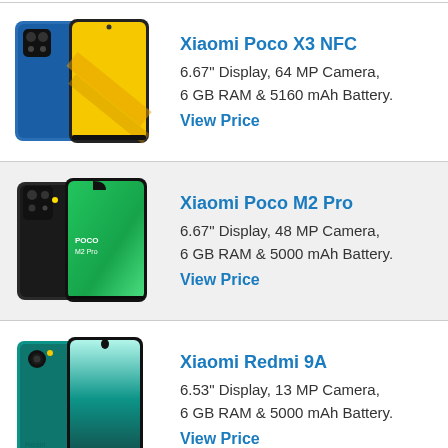[Figure (photo): Xiaomi Poco X3 NFC smartphone image showing blue device with yellow display and rear camera array]
Xiaomi Poco X3 NFC
6.67" Display, 64 MP Camera,
6 GB RAM & 5160 mAh Battery.
View Price
[Figure (photo): Xiaomi Poco M2 Pro smartphone image showing black/grey device with green gradient back]
Xiaomi Poco M2 Pro
6.67" Display, 48 MP Camera,
6 GB RAM & 5000 mAh Battery.
View Price
[Figure (photo): Xiaomi Redmi 9A smartphone image showing teal/green device]
Xiaomi Redmi 9A
6.53" Display, 13 MP Camera,
6 GB RAM & 5000 mAh Battery.
View Price